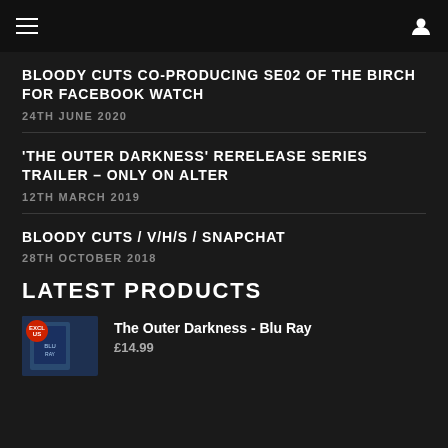Navigation bar with hamburger menu and user icon
BLOODY CUTS CO-PRODUCING SE02 OF THE BIRCH FOR FACEBOOK WATCH
24TH JUNE 2020
'THE OUTER DARKNESS' RERELEASE SERIES TRAILER – ONLY ON ALTER
12TH MARCH 2019
BLOODY CUTS / V/H/S / SNAPCHAT
28TH OCTOBER 2018
LATEST PRODUCTS
The Outer Darkness - Blu Ray
£14.99